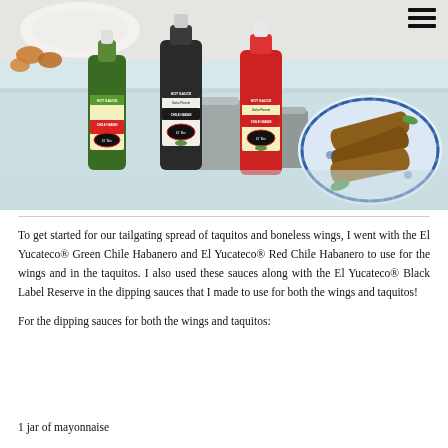[Figure (photo): Photo of three El Yucateco hot sauce bottles (green Chile Habanero, black label reserve, and red Chile Habanero) on a table with a decorative blue plate holding rolled taquitos/flautas visible to the right, and various metal cups in the background.]
To get started for our tailgating spread of taquitos and boneless wings, I went with the El Yucateco® Green Chile Habanero and El Yucateco® Red Chile Habanero to use for the wings and in the taquitos. I also used these sauces along with the El Yucateco® Black Label Reserve in the dipping sauces that I made to use for both the wings and taquitos!
For the dipping sauces for both the wings and taquitos:
1 jar of mayonnaise